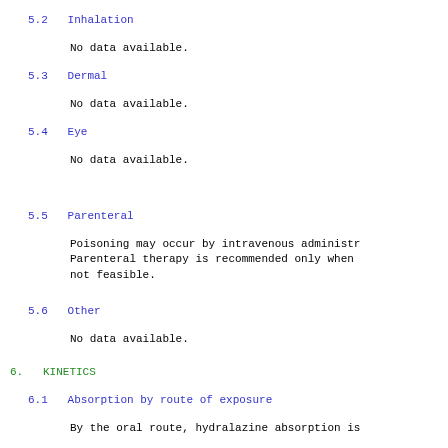5.2   Inhalation
No data available.
5.3   Dermal
No data available.
5.4   Eye
No data available.
5.5   Parenteral
Poisoning may occur by intravenous administr... Parenteral therapy is recommended only when not feasible.
5.6   Other
No data available.
6.   KINETICS
6.1   Absorption by route of exposure
By the oral route, hydralazine absorption is